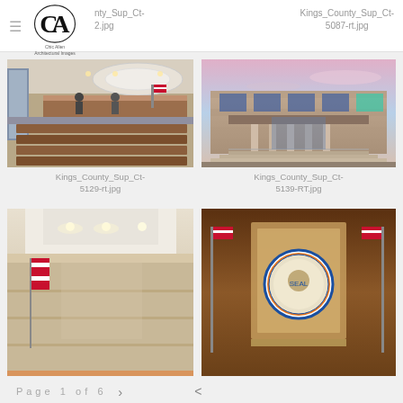≡  CA Chic Allen Architectural Images | nty_Sup_Ct-2.jpg | Kings_County_Sup_Ct-5087-rt.jpg
[Figure (photo): Interior of a courtroom with wooden benches and judge's bench, circular ceiling detail, US flag visible.]
Kings_County_Sup_Ct-5129-rt.jpg
[Figure (photo): Exterior of a modern courthouse building at dusk/sunset with pink and blue sky, steps at entrance.]
Kings_County_Sup_Ct-5139-RT.jpg
[Figure (photo): Interior hallway or corridor of courthouse, partial view cut off at bottom of page.]
[Figure (photo): Courtroom with Kings County seal on wall, flanked by US and California flags, partial view.]
Page 1 of 6